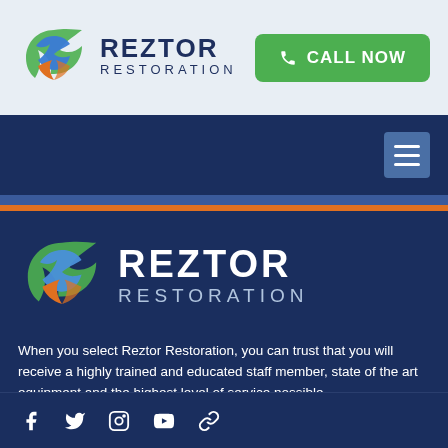[Figure (logo): Reztor Restoration logo with circular bird/flame icon in blue, green, and orange colors, with REZTOR RESTORATION text]
CALL NOW
[Figure (logo): Reztor Restoration large logo on dark blue background with circular bird/flame icon]
When you select Reztor Restoration, you can trust that you will receive a highly trained and educated staff member, state of the art equipment and the highest level of service possible.
[Figure (infographic): Social media icons: Facebook, Twitter, Instagram, YouTube, Link]